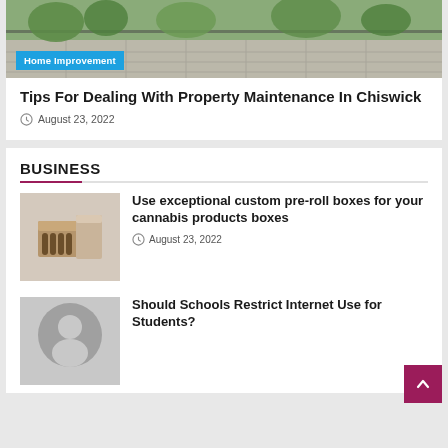[Figure (photo): Outdoor garden/patio area with greenery and paving stones, seen from above]
Home Improvement
Tips For Dealing With Property Maintenance In Chiswick
August 23, 2022
BUSINESS
[Figure (photo): Custom pre-roll boxes — cardboard packaging with cannabis pre-rolls inside]
Use exceptional custom pre-roll boxes for your cannabis products boxes
August 23, 2022
[Figure (illustration): Generic user avatar illustration — grey circle with person silhouette]
Should Schools Restrict Internet Use for Students?